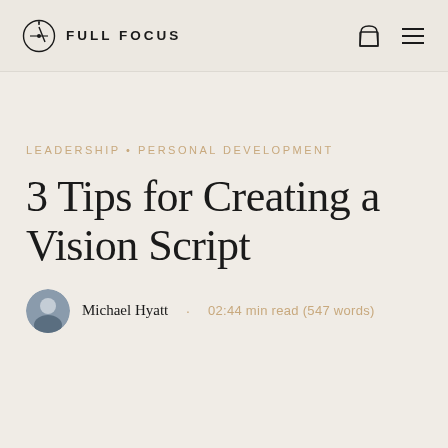FULL FOCUS
LEADERSHIP • PERSONAL DEVELOPMENT
3 Tips for Creating a Vision Script
Michael Hyatt · 02:44 min read (547 words)